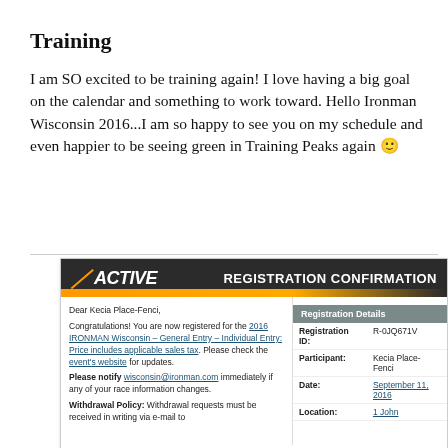Training
I am SO excited to be training again! I love having a big goal on the calendar and something to work toward. Hello Ironman Wisconsin 2016...I am so happy to see you on my schedule and even happier to be seeing green in Training Peaks again 🙂
[Figure (screenshot): Active.com registration confirmation email screenshot showing header with ACTIVE logo and 'REGISTRATION CONFIRMATION' text, left column with greeting 'Dear Kecia Place-Fenci,' and registration details, right column with Registration Details table including Registration ID: R-0JQ671V, Participant: Kecia Place-Fenci, Date: September 11, 2016, Location: 1 John...]